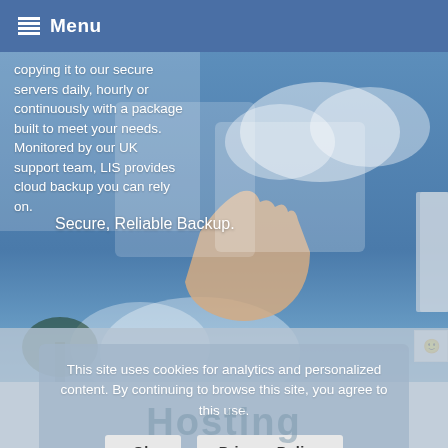Menu
copying it to our secure servers daily, hourly or continuously with a package built to meet your needs. Monitored by our UK support team, LIS provides cloud backup you can rely on.
Secure, Reliable Backup.
[Figure (photo): Hand holding a white paper cloud against a blue sky with clouds, representing cloud backup services]
This site uses cookies for analytics and personalized content. By continuing to browse this site, you agree to this use.
Ok
Privacy Policy